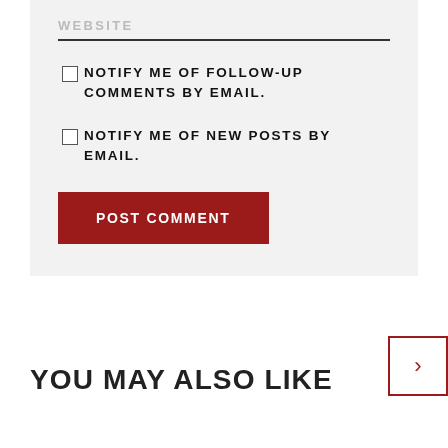WEBSITE
NOTIFY ME OF FOLLOW-UP COMMENTS BY EMAIL.
NOTIFY ME OF NEW POSTS BY EMAIL.
POST COMMENT
YOU MAY ALSO LIKE